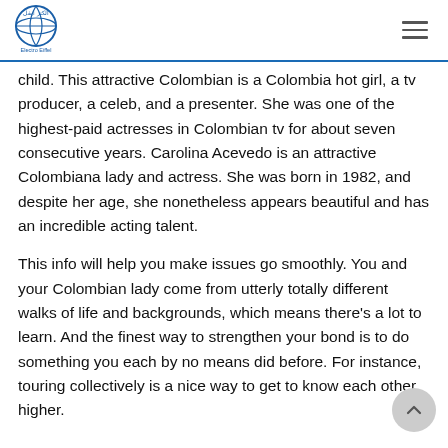[Figure (logo): Electro Eiffel logo — circular blue globe icon with Arabic text above and 'Electro Eiffel' below]
child. This attractive Colombian is a Colombia hot girl, a tv producer, a celeb, and a presenter. She was one of the highest-paid actresses in Colombian tv for about seven consecutive years. Carolina Acevedo is an attractive Colombiana lady and actress. She was born in 1982, and despite her age, she nonetheless appears beautiful and has an incredible acting talent.
This info will help you make issues go smoothly. You and your Colombian lady come from utterly totally different walks of life and backgrounds, which means there's a lot to learn. And the finest way to strengthen your bond is to do something you each by no means did before. For instance, touring collectively is a nice way to get to know each other higher.